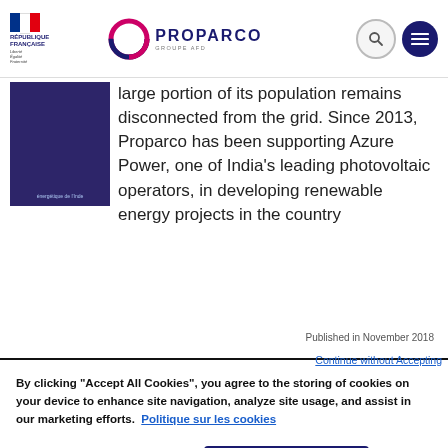REPUBLIQUE FRANÇAISE | PROPARCO GROUPE AFD
large portion of its population remains disconnected from the grid. Since 2013, Proparco has been supporting Azure Power, one of India's leading photovoltaic operators, in developing renewable energy projects in the country
Published in November 2018
By clicking "Accept All Cookies", you agree to the storing of cookies on your device to enhance site navigation, analyze site usage, and assist in our marketing efforts. Politique sur les cookies
Continue without Accepting
Cookies Settings
Accept All Cookies